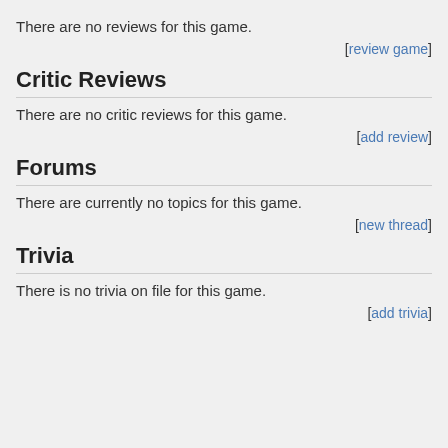There are no reviews for this game.
[review game]
Critic Reviews
There are no critic reviews for this game.
[add review]
Forums
There are currently no topics for this game.
[new thread]
Trivia
There is no trivia on file for this game.
[add trivia]